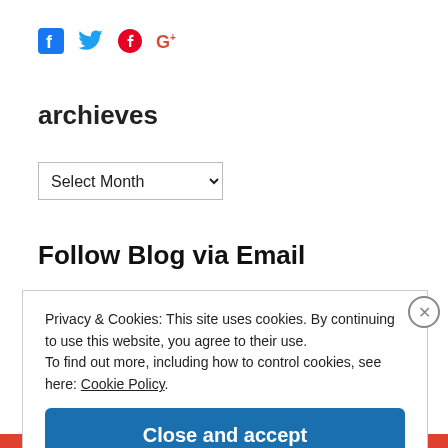[Figure (other): Social media icons: Facebook, Twitter, Pinterest, Google+]
archieves
[Figure (other): Select Month dropdown]
Follow Blog via Email
Privacy & Cookies: This site uses cookies. By continuing to use this website, you agree to their use. To find out more, including how to control cookies, see here: Cookie Policy
Close and accept